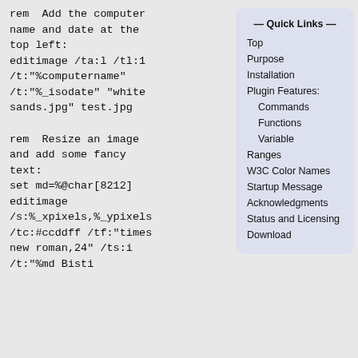rem  Add the computer name and date at the top left:
editimage /ta:l /tl:1 /t:"%computername" /t:"%_isodate" "white sands.jpg" test.jpg

rem  Resize an image and add some fancy text:
set md=%@char[8212]
editimage /s:%_xpixels,%_ypixels /tc:#ccddff /tf:"times new roman,24" /ts:i /t:"%md Bisti
— Quick Links —
Top
Purpose
Installation
Plugin Features:
    Commands
    Functions
    Variable
Ranges
W3C Color Names
Startup Message
Acknowledgments
Status and Licensing
Download